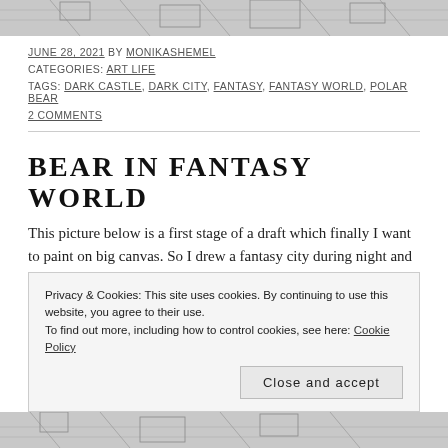[Figure (illustration): Top portion of a sketch/line art illustration of a fantasy city, cropped at top of page]
JUNE 28, 2021 BY MONIKASHEMEL
CATEGORIES: ART LIFE
TAGS: DARK CASTLE, DARK CITY, FANTASY, FANTASY WORLD, POLAR BEAR
2 COMMENTS
BEAR IN FANTASY WORLD
This picture below is a first stage of a draft which finally I want to paint on big canvas. So I drew a fantasy city during night and a polar
Privacy & Cookies: This site uses cookies. By continuing to use this website, you agree to their use.
To find out more, including how to control cookies, see here: Cookie Policy
Close and accept
[Figure (illustration): Bottom portion of a sketch/line art illustration of a fantasy city, cropped at bottom of page]